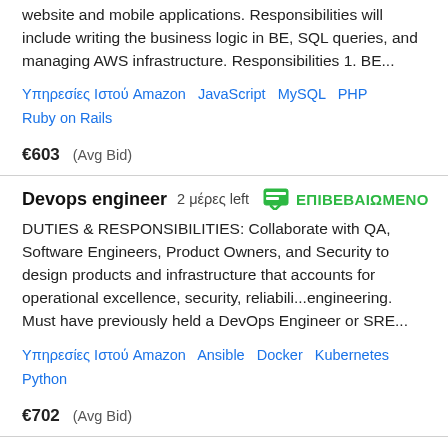Website and mobile applications. Responsibilities will include writing the business logic in BE, SQL queries, and managing AWS infrastructure. Responsibilities 1. BE...
Υπηρεσίες Ιστού Amazon   JavaScript   MySQL   PHP   Ruby on Rails
€603  (Avg Bid)
Devops engineer   2 μέρες left   ΕΠΙΒΕΒΑΙΩΜΕΝΟ
DUTIES & RESPONSIBILITIES: Collaborate with QA, Software Engineers, Product Owners, and Security to design products and infrastructure that accounts for operational excellence, security, reliabili...engineering. Must have previously held a DevOps Engineer or SRE...
Υπηρεσίες Ιστού Amazon   Ansible   Docker   Kubernetes   Python
€702  (Avg Bid)